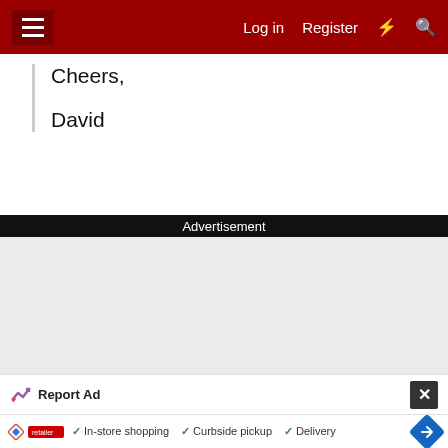Log in  Register
Cheers,

David
Advertisement
[Figure (other): Grey advertisement placeholder area]
Report Ad
In-store shopping  Curbside pickup  Delivery